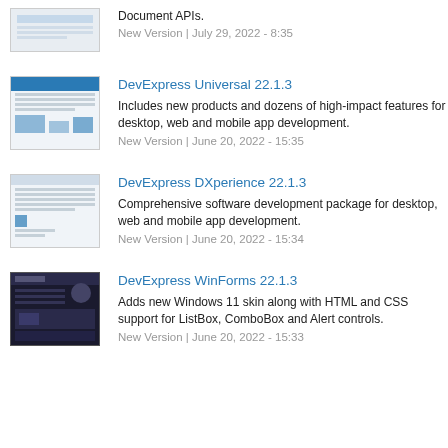Document APIs.
New Version | July 29, 2022 - 8:35
[Figure (screenshot): Screenshot thumbnail of a software UI with table/grid layout]
DevExpress Universal 22.1.3
Includes new products and dozens of high-impact features for desktop, web and mobile app development.
New Version | June 20, 2022 - 15:35
[Figure (screenshot): Screenshot thumbnail of a software UI with grid and chart]
DevExpress DXperience 22.1.3
Comprehensive software development package for desktop, web and mobile app development.
New Version | June 20, 2022 - 15:34
[Figure (screenshot): Dark-themed screenshot thumbnail of a WinForms application]
DevExpress WinForms 22.1.3
Adds new Windows 11 skin along with HTML and CSS support for ListBox, ComboBox and Alert controls.
New Version | June 20, 2022 - 15:33